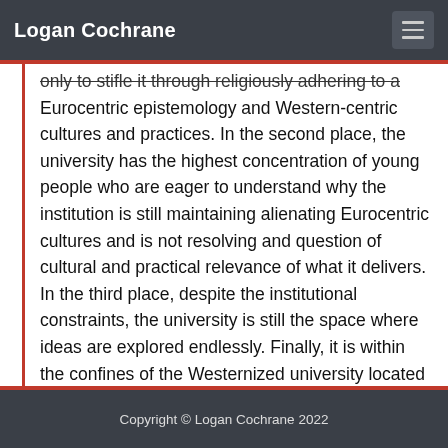Logan Cochrane
only to stifle it through religiously adhering to a Eurocentric epistemology and Western-centric cultures and practices. In the second place, the university has the highest concentration of young people who are eager to understand why the institution is still maintaining alienating Eurocentric cultures and is not resolving and question of cultural and practical relevance of what it delivers. In the third place, despite the institutional constraints, the university is still the space where ideas are explored endlessly. Finally, it is within the confines of the Westernized university located in Africa that the youth encounter face-to-face epistemic and pedagogical brutalities that provoke them to rebel." (p. 163)
Copyright © Logan Cochrane 2022